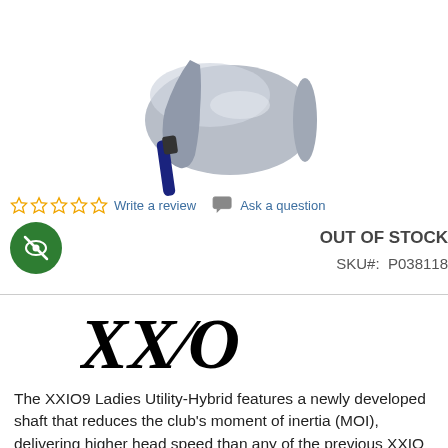[Figure (photo): XXIO9 Ladies Utility-Hybrid golf club head and shaft, silver/blue coloring, viewed from above at an angle, cropped.]
Write a review   Ask a question
[Figure (logo): Green circle badge with crossed-out eye icon (hidden/not visible symbol)]
OUT OF STOCK
SKU#:  P038118
[Figure (logo): XXIO brand logo in large bold italic black serif font]
The XXIO9 Ladies Utility-Hybrid features a newly developed shaft that reduces the club's moment of inertia (MOI), delivering higher head speed than any of the previous XXIO models.